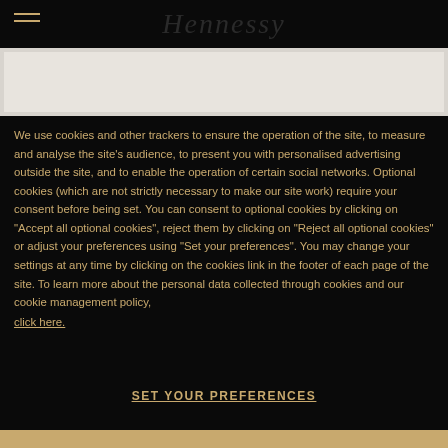Hennessy
[Figure (photo): White/light grey hero image banner area for Hennessy website]
We use cookies and other trackers to ensure the operation of the site, to measure and analyse the site's audience, to present you with personalised advertising outside the site, and to enable the operation of certain social networks. Optional cookies (which are not strictly necessary to make our site work) require your consent before being set. You can consent to optional cookies by clicking on "Accept all optional cookies", reject them by clicking on "Reject all optional cookies" or adjust your preferences using "Set your preferences". You may change your settings at any time by clicking on the cookies link in the footer of each page of the site. To learn more about the personal data collected through cookies and our cookie management policy, click here.
SET YOUR PREFERENCES